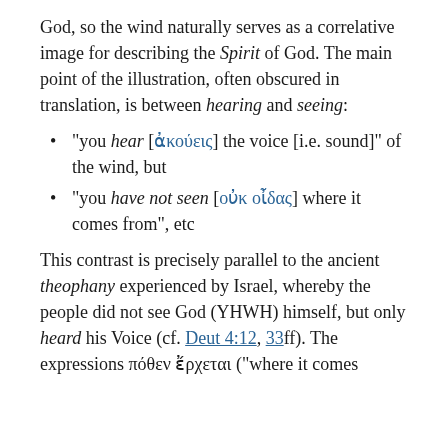God, so the wind naturally serves as a correlative image for describing the Spirit of God. The main point of the illustration, often obscured in translation, is between hearing and seeing:
“you hear [ἀκούεις] the voice [i.e. sound]” of the wind, but
“you have not seen [οὐκ οῖδας] where it comes from”, etc
This contrast is precisely parallel to the ancient theophany experienced by Israel, whereby the people did not see God (YHWH) himself, but only heard his Voice (cf. Deut 4:12, 33ff). The expressions πόθεν ἔρχεται (“where it comes